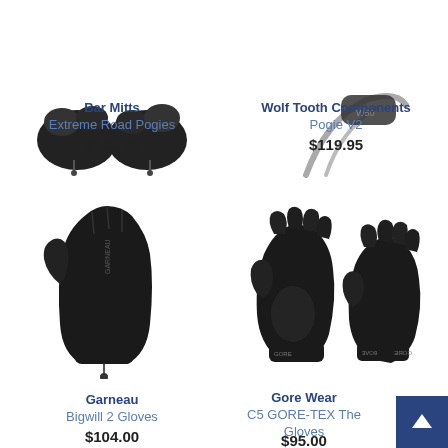[Figure (photo): Bar Mitts Extreme Road Pogies product photo - black handlebar mittens]
Bar Mitts
Extreme Road Pogies
$125.00
[Figure (photo): Wolf Tooth Components Pogie V2 product photo - handlebar pogie on bike]
Wolf Tooth Components
Pogie V2
$119.95
[Figure (photo): Garneau Bigwill 2 Gloves product photo - single black winter cycling glove/mitten]
Garneau
Bigwill 2 Gloves
$104.00
[Figure (photo): Gore Wear C5 GORE-TEX Thermo Gloves product photo - pair of black cycling gloves]
Gore Wear
C5 GORE-TEX The Gloves
$95.00